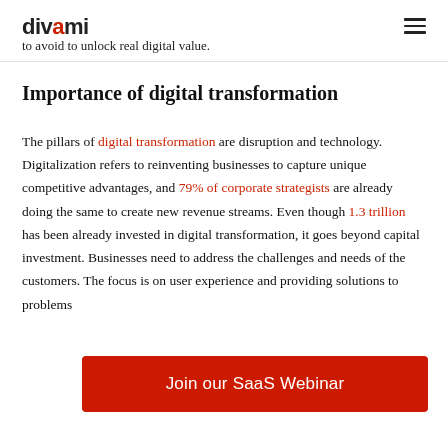divami — to avoid to unlock real digital value.
Importance of digital transformation
The pillars of digital transformation are disruption and technology. Digitalization refers to reinventing businesses to capture unique competitive advantages, and 79% of corporate strategists are already doing the same to create new revenue streams. Even though 1.3 trillion has been already invested in digital transformation, it goes beyond capital investment. Businesses need to address the challenges and needs of the customers. The focus is on user experience and providing solutions to problems
[Figure (other): Red CTA button: Join our SaaS Webinar]